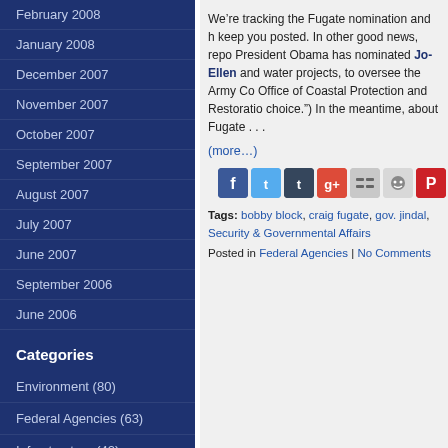February 2008
January 2008
December 2007
November 2007
October 2007
September 2007
August 2007
July 2007
June 2007
September 2006
June 2006
Categories
Environment (80)
Federal Agencies (63)
Infrastructure (42)
Interviews (6)
Miscellaneous (41)
We’re tracking the Fugate nomination and keep you posted. In other news, President Obama has nominated Jo-Ellen and water projects, to oversee the Army Co Office of Coastal Protection and Restorat choice.") In the meantime, about Fugate . . .
(more…)
[Figure (infographic): Social share buttons: Facebook, Twitter, Tumblr, Google+, Delicious, Reddit, Pinterest]
Tags: bobby block, craig fugate, gov. jindal, Security & Governmental Affairs
Posted in Federal Agencies | No Comments